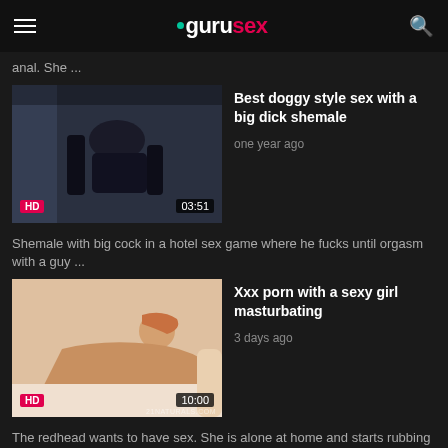gurusex
anal. She ...
[Figure (photo): Video thumbnail: HD doggy style scene, duration 03:51]
Best doggy style sex with a big dick shemale
one year ago
Shemale with big cock in a hotel sex game where he fucks until orgasm with a guy ...
[Figure (photo): Video thumbnail: HD redhead girl masturbating, duration 10:00, watermark 21NATURALS.COM]
Xxx porn with a sexy girl masturbating
3 days ago
The redhead wants to have sex. She is alone at home and starts rubbing her ...
Blonde teen is good at banging